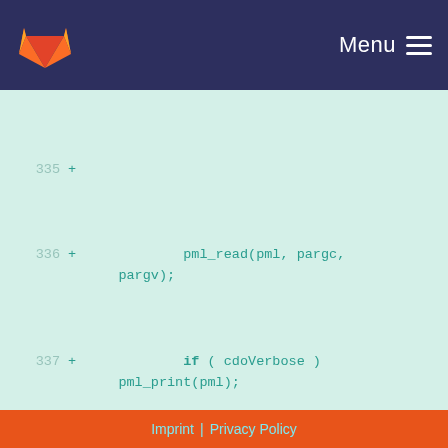[Figure (screenshot): GitLab navigation bar with orange fox logo and Menu hamburger icon on dark blue background]
335  +
336  +              pml_read(pml, pargc,
    pargv);
337  +              if ( cdoVerbose )
    pml_print(pml);
338  +
339  +              if ( PML_NOCC(pml,
    nsmooth) )        xnsmooth =
    par_nsmooth[0];
340  +              if ( PML_NOCC(pml,
    max_points) )    xmax_points =
    par_max_points[0];
341  +              if ( PML_NOCC(pml,
    search_radius) ) xsearch_radius =
    par_search_radius[0];
342  +              if ( PML_NOCC(pml,
    weight0) )        xweight0 =
    par_weight0[0];
343  +              if ( PML_NOCC(pml,
Imprint | Privacy Policy